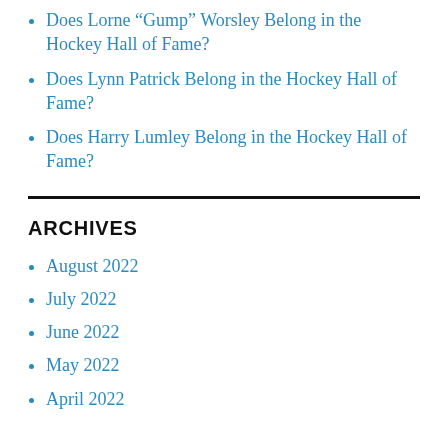Does Lorne “Gump” Worsley Belong in the Hockey Hall of Fame?
Does Lynn Patrick Belong in the Hockey Hall of Fame?
Does Harry Lumley Belong in the Hockey Hall of Fame?
ARCHIVES
August 2022
July 2022
June 2022
May 2022
April 2022